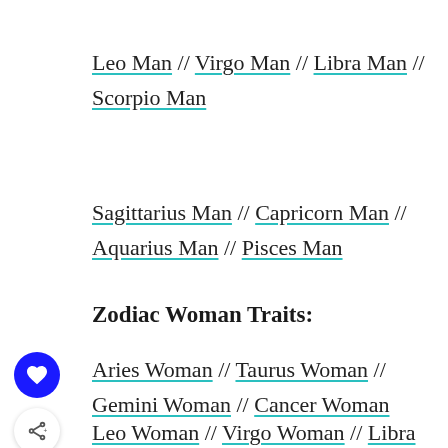Leo Man // Virgo Man // Libra Man // Scorpio Man
Sagittarius Man // Capricorn Man // Aquarius Man // Pisces Man
Zodiac Woman Traits:
Aries Woman // Taurus Woman // Gemini Woman // Cancer Woman
Leo Woman // Virgo Woman // Libra